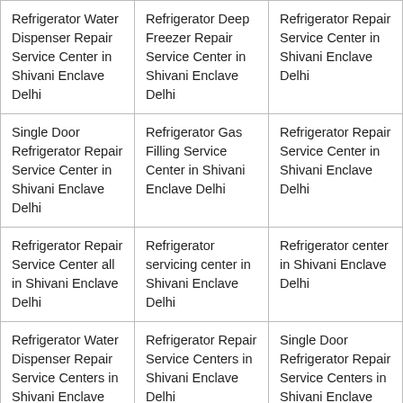| Refrigerator Water Dispenser Repair Service Center in Shivani Enclave Delhi | Refrigerator Deep Freezer Repair Service Center in Shivani Enclave Delhi | Refrigerator Repair Service Center in Shivani Enclave Delhi |
| Single Door Refrigerator Repair Service Center in Shivani Enclave Delhi | Refrigerator Gas Filling Service Center in Shivani Enclave Delhi | Refrigerator Repair Service Center in Shivani Enclave Delhi |
| Refrigerator Repair Service Center all in Shivani Enclave Delhi | Refrigerator servicing center in Shivani Enclave Delhi | Refrigerator center in Shivani Enclave Delhi |
| Refrigerator Water Dispenser Repair Service Centers in Shivani Enclave Delhi | Refrigerator Repair Service Centers in Shivani Enclave Delhi | Single Door Refrigerator Repair Service Centers in Shivani Enclave Delhi |
|  |  |  |